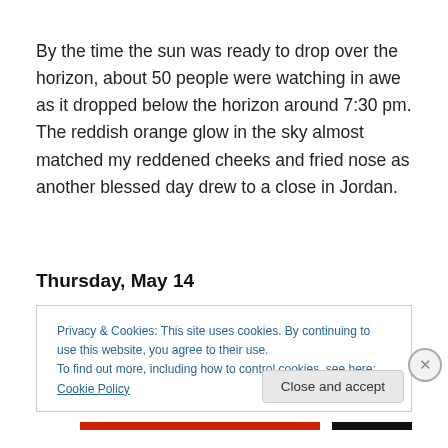By the time the sun was ready to drop over the horizon, about 50 people were watching in awe as it dropped below the horizon around 7:30 pm. The reddish orange glow in the sky almost matched my reddened cheeks and fried nose as another blessed day drew to a close in Jordan.
Thursday, May 14
Privacy & Cookies: This site uses cookies. By continuing to use this website, you agree to their use.
To find out more, including how to control cookies, see here: Cookie Policy
Close and accept